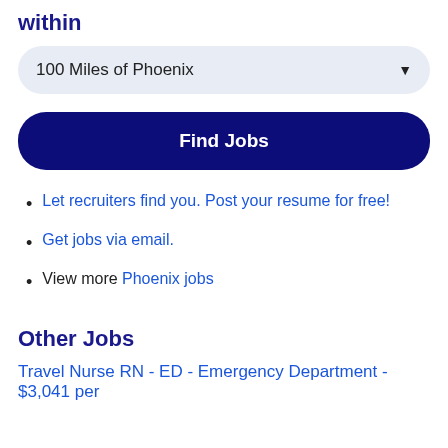within
100 Miles of Phoenix
Find Jobs
Let recruiters find you. Post your resume for free!
Get jobs via email.
View more Phoenix jobs
Other Jobs
Travel Nurse RN - ED - Emergency Department - $3,041 per